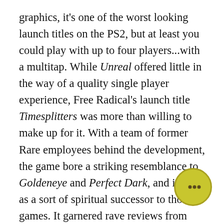graphics, it's one of the worst looking launch titles on the PS2, but at least you could play with up to four players...with a multitap. While Unreal offered little in the way of a quality single player experience, Free Radical's launch title Timesplitters was more than willing to make up for it. With a team of former Rare employees behind the development, the game bore a striking resemblance to Goldeneye and Perfect Dark, and is seen as a sort of spiritual successor to those games. It garnered rave reviews from critics but was only seen as a modest sleeper hit, however word of mouth would increase its notoriety and it eventually go on to spawn two sequels. For arcade shooter fans there was Silent Scope, an almost too faithful adaptation of the popular sniper game. While having time limits and short burst gameplay makes sense in the arcade, that style doesn't translate to the home console very well, making this game much more frustrating